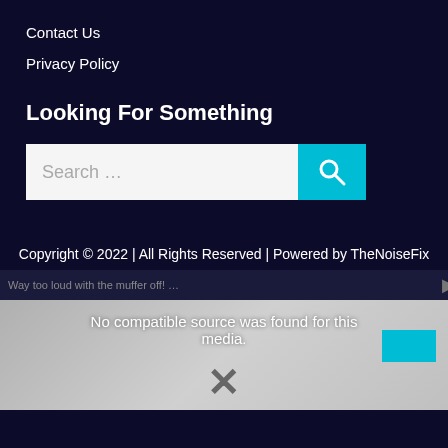Contact Us
Privacy Policy
Looking For Something
[Figure (screenshot): Search bar with text 'Search ...' and a teal search button with magnifying glass icon]
Copyright © 2022 | All Rights Reserved | Powered by TheNoiseFix
[Figure (screenshot): Media player area showing 'Way too loud with the muffer off! ...' text, 'No compatible source was found for this media.' message, a teal overlay box, and an X close button over a blurred background image]